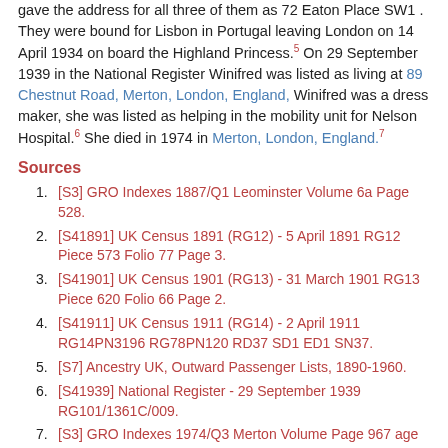gave the address for all three of them as 72 Eaton Place SW1. They were bound for Lisbon in Portugal leaving London on 14 April 1934 on board the Highland Princess.5 On 29 September 1939 in the National Register Winifred was listed as living at 89 Chestnut Road, Merton, London, England, Winifred was a dress maker, she was listed as helping in the mobility unit for Nelson Hospital.6 She died in 1974 in Merton, London, England.7
Sources
[S3] GRO Indexes 1887/Q1 Leominster Volume 6a Page 528.
[S41891] UK Census 1891 (RG12) - 5 April 1891 RG12 Piece 573 Folio 77 Page 3.
[S41901] UK Census 1901 (RG13) - 31 March 1901 RG13 Piece 620 Folio 66 Page 2.
[S41911] UK Census 1911 (RG14) - 2 April 1911 RG14PN3196 RG78PN120 RD37 SD1 ED1 SN37.
[S7] Ancestry UK, Outward Passenger Lists, 1890-1960.
[S41939] National Register - 29 September 1939 RG101/1361C/009.
[S3] GRO Indexes 1974/Q3 Merton Volume Page 967 age 87.
Sidney Herbert Horsell
M, b. 14 July 1893, d. 1971